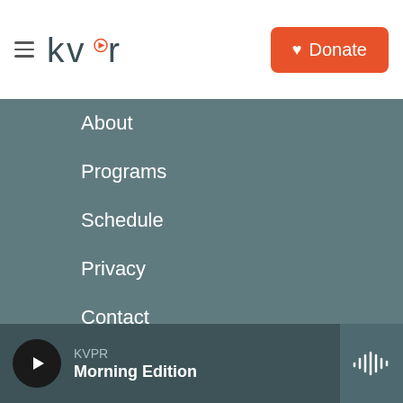kvpr | Donate
About
Programs
Schedule
Privacy
Contact
Staff
Support
Sponsorships
KVPR Morning Edition